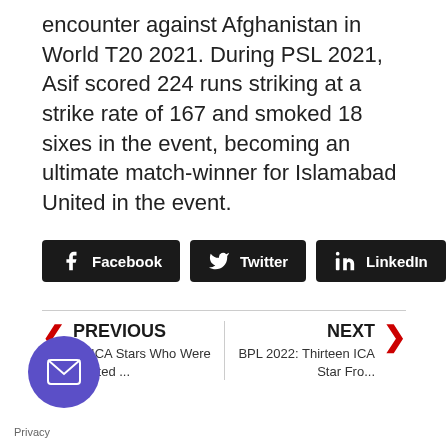encounter against Afghanistan in World T20 2021. During PSL 2021, Asif scored 224 runs striking at a strike rate of 167 and smoked 18 sixes in the event, becoming an ultimate match-winner for Islamabad United in the event.
[Figure (other): Social share buttons: Facebook, Twitter, LinkedIn]
[Figure (other): Navigation: PREVIOUS - 12 ICA Stars Who Were Drafted ... | NEXT - BPL 2022: Thirteen ICA Star Fro...]
[Figure (other): Purple circular email button at bottom left]
Privacy